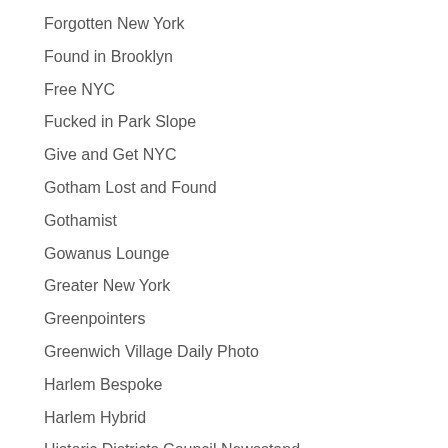Forgotten New York
Found in Brooklyn
Free NYC
Fucked in Park Slope
Give and Get NYC
Gotham Lost and Found
Gothamist
Gowanus Lounge
Greater New York
Greenpointers
Greenwich Village Daily Photo
Harlem Bespoke
Harlem Hybrid
Historic Districts Council Newsstand
Holla Back NYC